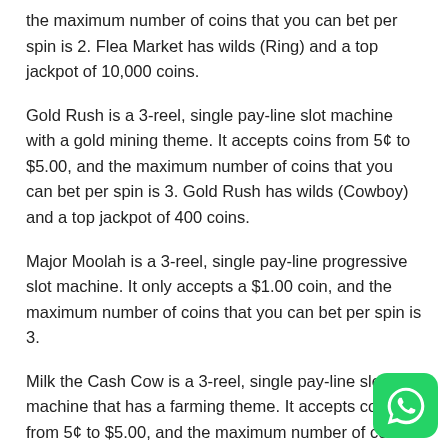the maximum number of coins that you can bet per spin is 2. Flea Market has wilds (Ring) and a top jackpot of 10,000 coins.
Gold Rush is a 3-reel, single pay-line slot machine with a gold mining theme. It accepts coins from 5¢ to $5.00, and the maximum number of coins that you can bet per spin is 3. Gold Rush has wilds (Cowboy) and a top jackpot of 400 coins.
Major Moolah is a 3-reel, single pay-line progressive slot machine. It only accepts a $1.00 coin, and the maximum number of coins that you can bet per spin is 3.
Milk the Cash Cow is a 3-reel, single pay-line slot machine that has a farming theme. It accepts coins from 5¢ to $5.00, and the maximum number of coins that you can bet per spin is 3. Milk the Cash Cow has wilds (Cow) and a top jackpot of 10,000 coins.